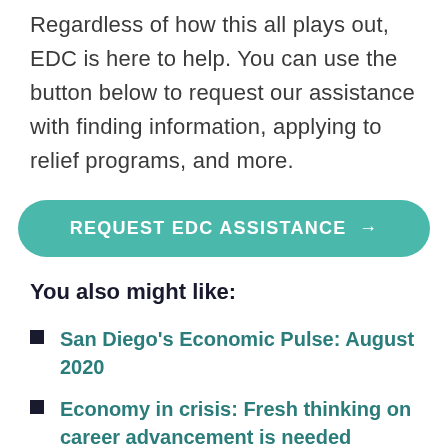Regardless of how this all plays out, EDC is here to help. You can use the button below to request our assistance with finding information, applying to relief programs, and more.
REQUEST EDC ASSISTANCE →
You also might like:
San Diego's Economic Pulse: August 2020
Economy in crisis: Fresh thinking on career advancement is needed
Economy in crisis: July jobs report likely to